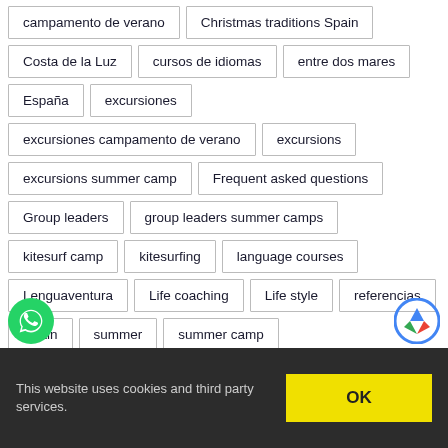campamento de verano
Christmas traditions Spain
Costa de la Luz
cursos de idiomas
entre dos mares
España
excursiones
excursiones campamento de verano
excursions
excursions summer camp
Frequent asked questions
Group leaders
group leaders summer camps
kitesurf camp
kitesurfing
language courses
Lenguaventura
Life coaching
Life style
referencias
Spain
summer
summer camp
summer camp activities
summer camp excursions
This website uses cookies and third party services.